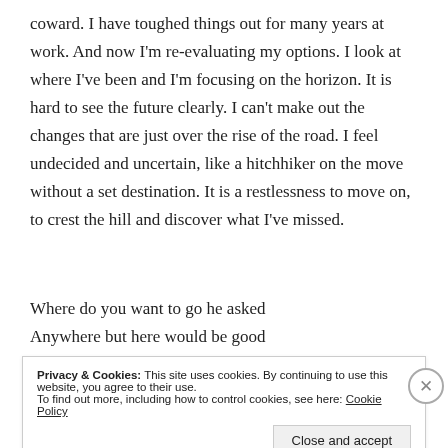coward. I have toughed things out for many years at work. And now I'm re-evaluating my options. I look at where I've been and I'm focusing on the horizon. It is hard to see the future clearly. I can't make out the changes that are just over the rise of the road. I feel undecided and uncertain, like a hitchhiker on the move without a set destination. It is a restlessness to move on, to crest the hill and discover what I've missed.
Where do you want to go he asked
Anywhere but here would be good
Privacy & Cookies: This site uses cookies. By continuing to use this website, you agree to their use.
To find out more, including how to control cookies, see here: Cookie Policy
Close and accept